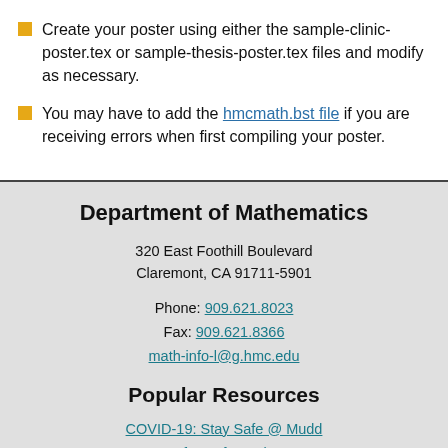Create your poster using either the sample-clinic-poster.tex or sample-thesis-poster.tex files and modify as necessary.
You may have to add the hmcmath.bst file if you are receiving errors when first compiling your poster.
Department of Mathematics
320 East Foothill Boulevard
Claremont, CA 91711-5901
Phone: 909.621.8023
Fax: 909.621.8366
math-info-l@g.hmc.edu
Popular Resources
COVID-19: Stay Safe @ Mudd
Safety Information